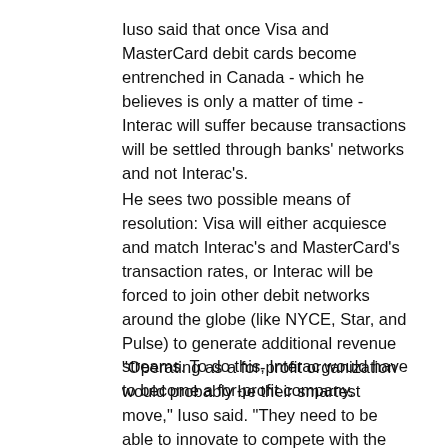Iuso said that once Visa and MasterCard debit cards become entrenched in Canada - which he believes is only a matter of time - Interac will suffer because transactions will be settled through banks' networks and not Interac's.
He sees two possible means of resolution: Visa will either acquiesce and match Interac's and MasterCard's transaction rates, or Interac will be forced to join other debit networks around the globe (like NYCE, Star, and Pulse) to generate additional revenue streams. To do this, Interac would have to become a for-profit company.
"Operating as a for-profit organization would probably be their smartest move," Iuso said. "They need to be able to innovate to compete with the other brands, but it's hard to do when you have board members looking at the business...